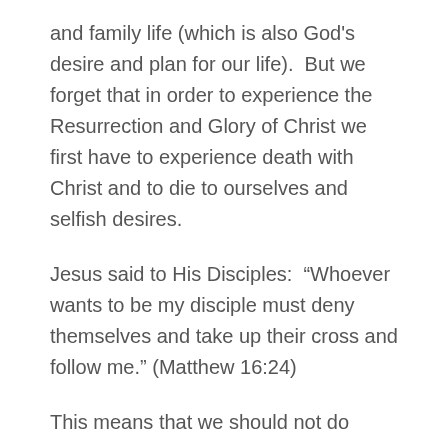and family life (which is also God's desire and plan for our life).  But we forget that in order to experience the Resurrection and Glory of Christ we first have to experience death with Christ and to die to ourselves and selfish desires.
Jesus said to His Disciples:  “Whoever wants to be my disciple must deny themselves and take up their cross and follow me.” (Matthew 16:24)
This means that we should not do